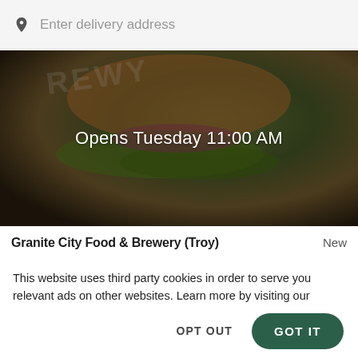Enter delivery address
[Figure (photo): Close-up food photo of a burger with lettuce, onion, and bun, dark overlay. Text overlay reads: Opens Tuesday 11:00 AM]
Granite City Food & Brewery (Troy)
New
This website uses third party cookies in order to serve you relevant ads on other websites. Learn more by visiting our Cookie Statement, or opt out of third party ad cookies using the button below.
OPT OUT
GOT IT